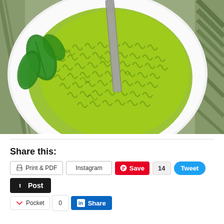[Figure (photo): Overhead view of a white plate with green pesto pasta (cavatappi/fusilli) and a fork in it, with fresh basil leaves on the side. Green tablecloth visible in corners.]
Share this:
Print & PDF
Instagram
Save  14  Tweet
Post
Pocket  0  Share